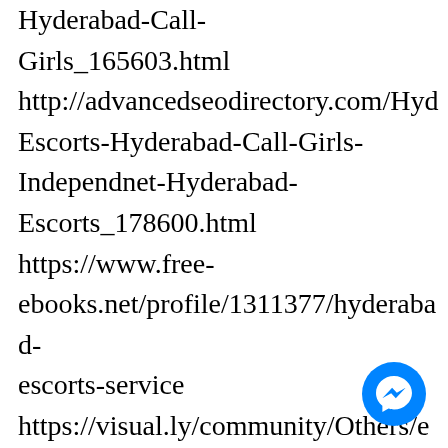Hyderabad-Call-Girls_165603.html http://advancedseodirectory.com/Hyd Escorts-Hyderabad-Call-Girls-Independnet-Hyderabad-Escorts_178600.html https://www.free-ebooks.net/profile/1311377/hyderabad-escorts-service https://visual.ly/community/Others/e escorts-hyderabad-escorts-service-hyderabad-escorts-agency
[Figure (other): Blue circular Messenger chat button icon in the bottom-right corner]